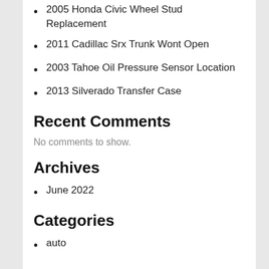2005 Honda Civic Wheel Stud Replacement
2011 Cadillac Srx Trunk Wont Open
2003 Tahoe Oil Pressure Sensor Location
2013 Silverado Transfer Case
Recent Comments
No comments to show.
Archives
June 2022
Categories
auto